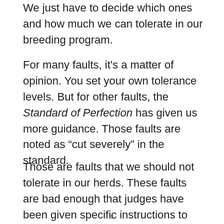We just have to decide which ones and how much we can tolerate in our breeding program.
For many faults, it's a matter of opinion. You set your own tolerance levels. But for other faults, the Standard of Perfection has given us more guidance. Those faults are noted as “cut severely” in the standard.
Those are faults that we should not tolerate in our herds. These faults are bad enough that judges have been given specific instructions to knock off significant points for them. In my opinion, there is no way that a Holland with one of these faults
x